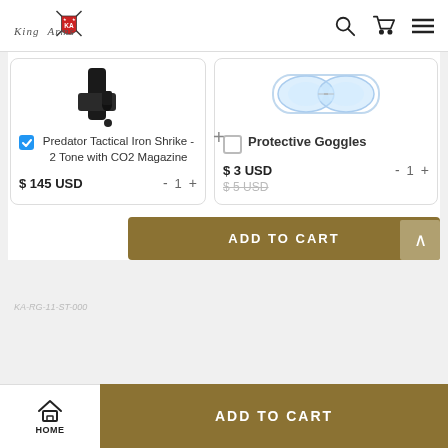[Figure (logo): King Arms logo with shield emblem and crossed weapons]
[Figure (photo): Partial image of Predator Tactical Iron Shrike - 2 Tone with CO2 Magazine product]
Predator Tactical Iron Shrike - 2 Tone with CO2 Magazine
$ 145 USD
- 1 +
[Figure (photo): Partial image of Protective Goggles product]
Protective Goggles
$ 3 USD
$ 5 USD (original price, strikethrough)
- 1 +
ADD TO CART
KA-RG-11-ST-000
HOME
ADD TO CART